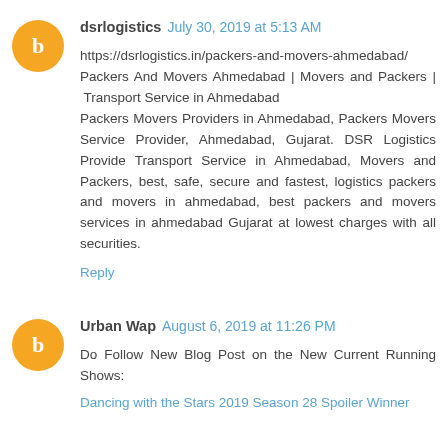dsrlogistics July 30, 2019 at 5:13 AM
https://dsrlogistics.in/packers-and-movers-ahmedabad/ Packers And Movers Ahmedabad | Movers and Packers | Transport Service in Ahmedabad Packers Movers Providers in Ahmedabad, Packers Movers Service Provider, Ahmedabad, Gujarat. DSR Logistics Provide Transport Service in Ahmedabad, Movers and Packers, best, safe, secure and fastest, logistics packers and movers in ahmedabad, best packers and movers services in ahmedabad Gujarat at lowest charges with all securities.
Reply
Urban Wap August 6, 2019 at 11:26 PM
Do Follow New Blog Post on the New Current Running Shows:
Dancing with the Stars 2019 Season 28 Spoiler Winner